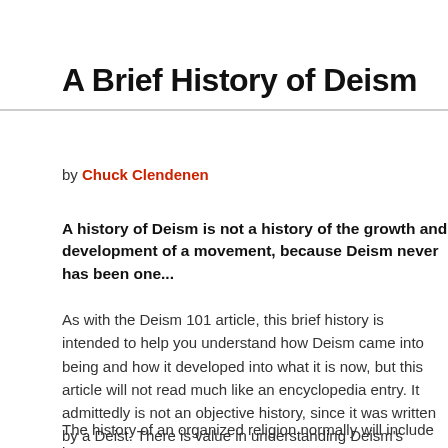A Brief History of Deism
by Chuck Clendenen
A history of Deism is not a history of the growth and development of a movement, because Deism never has been one...
As with the Deism 101 article, this brief history is intended to help you understand how Deism came into being and how it developed into what it is now, but this article will not read much like an encyclopedia entry. It admittedly is not an objective history, since it was written by a Deist. There is value in understanding Deism's history only if it helps you understand the origin of many Deist ideas. No two Deists think alike, and not too many modern Deists believe what the earliest Deists believed.
The history of an organized religion normally will include its